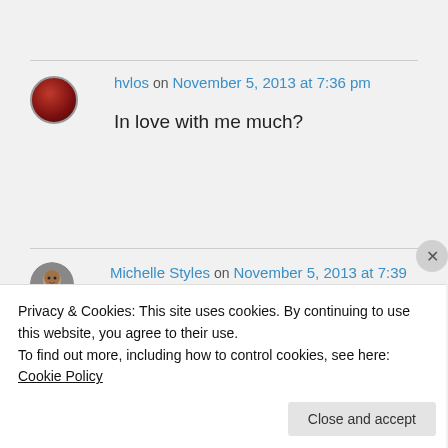hvlos on November 5, 2013 at 7:36 pm
In love with me much?
Michelle Styles on November 5, 2013 at 7:39 pm
Privacy & Cookies: This site uses cookies. By continuing to use this website, you agree to their use.
To find out more, including how to control cookies, see here: Cookie Policy
Close and accept